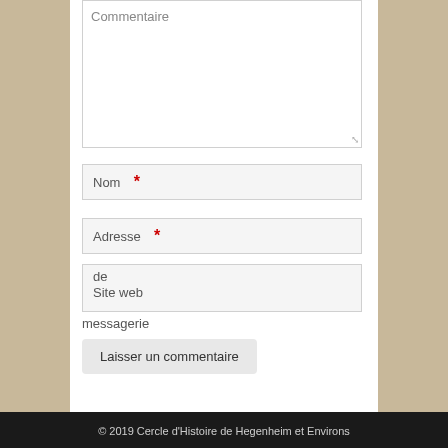Commentaire
Nom *
Adresse *
de
Site web
messagerie
Laisser un commentaire
© 2019 Cercle d'Histoire de Hegenheim et Environs